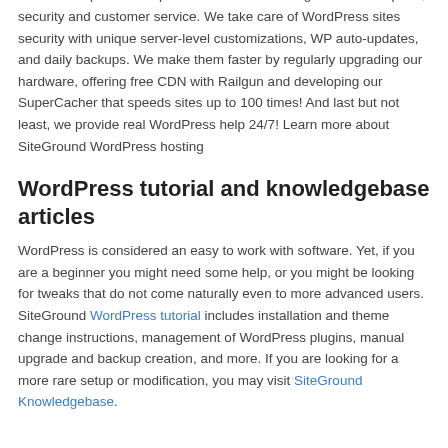Expert WordPress Hosting
SiteGround provides superior WordPress hosting focused on speed, security and customer service. We take care of WordPress sites security with unique server-level customizations, WP auto-updates, and daily backups. We make them faster by regularly upgrading our hardware, offering free CDN with Railgun and developing our SuperCacher that speeds sites up to 100 times! And last but not least, we provide real WordPress help 24/7! Learn more about SiteGround WordPress hosting
WordPress tutorial and knowledgebase articles
WordPress is considered an easy to work with software. Yet, if you are a beginner you might need some help, or you might be looking for tweaks that do not come naturally even to more advanced users. SiteGround WordPress tutorial includes installation and theme change instructions, management of WordPress plugins, manual upgrade and backup creation, and more. If you are looking for a more rare setup or modification, you may visit SiteGround Knowledgebase.